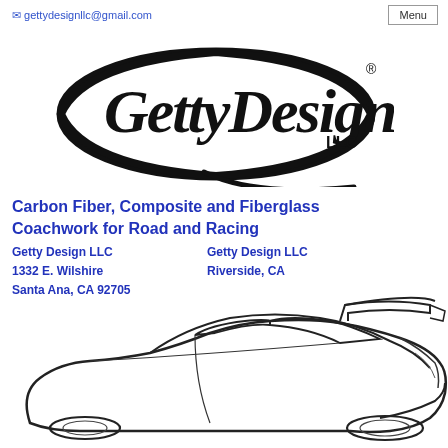gettydesignllc@gmail.com   Menu
[Figure (logo): Getty Design LLC logo — stylized script text 'GettyDesign' inside a black pointed oval/lens shape with 'LLC' and registered trademark symbol]
Carbon Fiber, Composite and Fiberglass Coachwork for Road and Racing
Getty Design LLC
1332 E. Wilshire
Santa Ana, CA 92705

Getty Design LLC
Riverside, CA
[Figure (illustration): Line drawing illustration of a sports car (Porsche 911 GT style) viewed from rear three-quarter angle, showing large rear wing, side windows, and body lines]